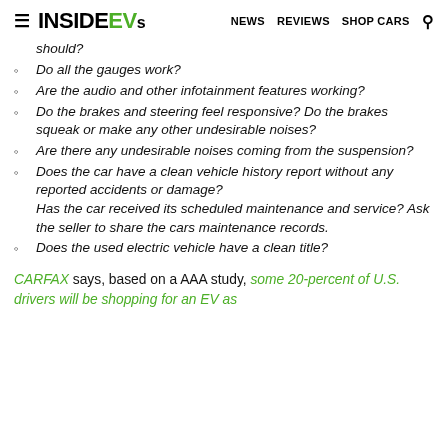≡ INSIDEEVS NEWS REVIEWS SHOP CARS 🔍
should?
Do all the gauges work?
Are the audio and other infotainment features working?
Do the brakes and steering feel responsive? Do the brakes squeak or make any other undesirable noises?
Are there any undesirable noises coming from the suspension?
Does the car have a clean vehicle history report without any reported accidents or damage? Has the car received its scheduled maintenance and service? Ask the seller to share the cars maintenance records.
Does the used electric vehicle have a clean title?
CARFAX says, based on a AAA study, some 20-percent of U.S. drivers will be shopping for an EV as